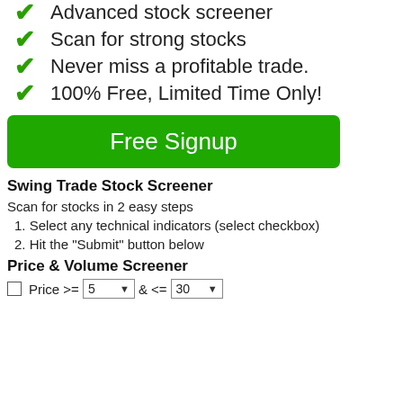✔ Advanced stock screener
✔ Scan for strong stocks
✔ Never miss a profitable trade.
✔ 100% Free, Limited Time Only!
[Figure (other): Green 'Free Signup' button]
Swing Trade Stock Screener
Scan for stocks in 2 easy steps
1. Select any technical indicators (select checkbox)
2. Hit the "Submit" button below
Price & Volume Screener
Price >= 5 & <= 30 (with checkbox and dropdowns)